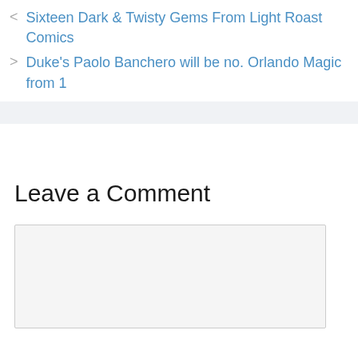< Sixteen Dark & Twisty Gems From Light Roast Comics
> Duke's Paolo Banchero will be no. Orlando Magic from 1
Leave a Comment